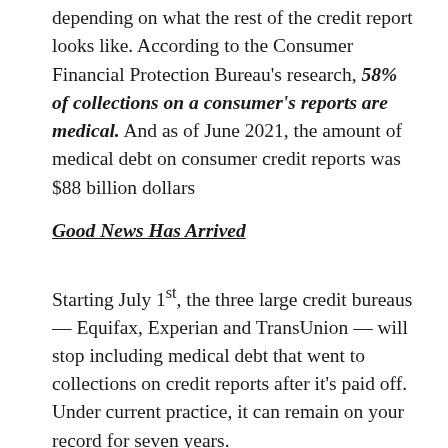depending on what the rest of the credit report looks like. According to the Consumer Financial Protection Bureau's research, 58% of collections on a consumer's reports are medical. And as of June 2021, the amount of medical debt on consumer credit reports was $88 billion dollars
Good News Has Arrived
Starting July 1st, the three large credit bureaus — Equifax, Experian and TransUnion — will stop including medical debt that went to collections on credit reports after it's paid off. Under current practice, it can remain on your record for seven years.